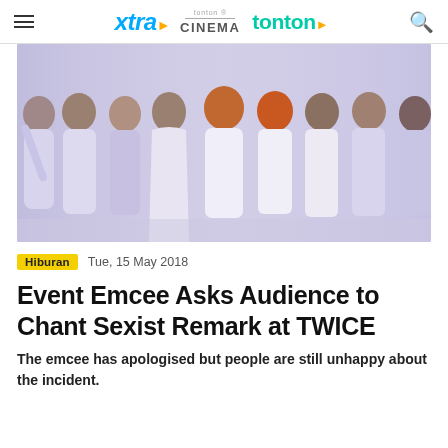xtra | tonton CINEMA | tonton
[Figure (photo): Group photo of nine young women (K-pop group TWICE) wearing white and lavender outfits against a light purple/lavender background]
Hiburan   Tue, 15 May 2018
Event Emcee Asks Audience to Chant Sexist Remark at TWICE
The emcee has apologised but people are still unhappy about the incident.